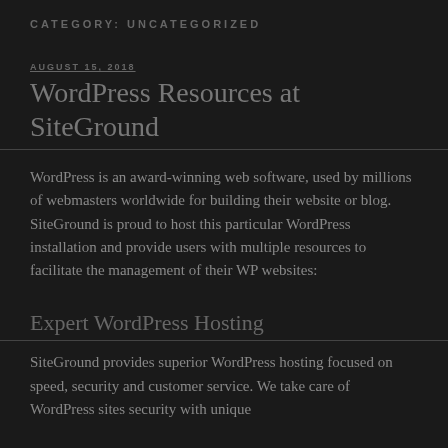CATEGORY: UNCATEGORIZED
AUGUST 15, 2018
WordPress Resources at SiteGround
WordPress is an award-winning web software, used by millions of webmasters worldwide for building their website or blog. SiteGround is proud to host this particular WordPress installation and provide users with multiple resources to facilitate the management of their WP websites:
Expert WordPress Hosting
SiteGround provides superior WordPress hosting focused on speed, security and customer service. We take care of WordPress sites security with unique